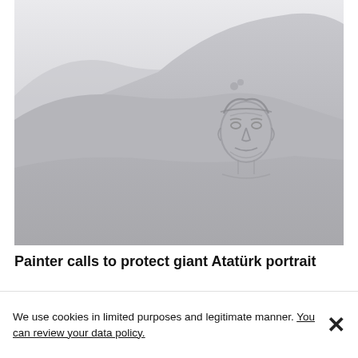[Figure (photo): A grayscale photograph of a hillside landscape with a large portrait of Atatürk carved or formed in the terrain. The face is visible in the center-right of the hill, with rolling hills and an overcast sky in the background.]
Painter calls to protect giant Atatürk portrait
We use cookies in limited purposes and legitimate manner. You can review your data policy.